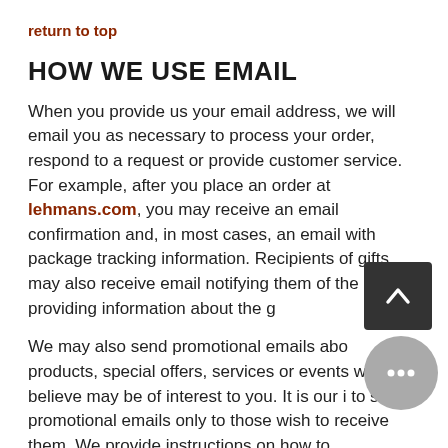return to top
HOW WE USE EMAIL
When you provide us your email address, we will email you as necessary to process your order, respond to a request or provide customer service. For example, after you place an order at lehmans.com, you may receive an email confirmation and, in most cases, an email with package tracking information. Recipients of gifts may also receive email notifying them of the gift and providing information about the g…
We may also send promotional emails abo… products, special offers, services or events we believe may be of interest to you. It is our … to send promotional emails only to those … wish to receive them. We provide instructions on how to unsubscribe in each email and you…